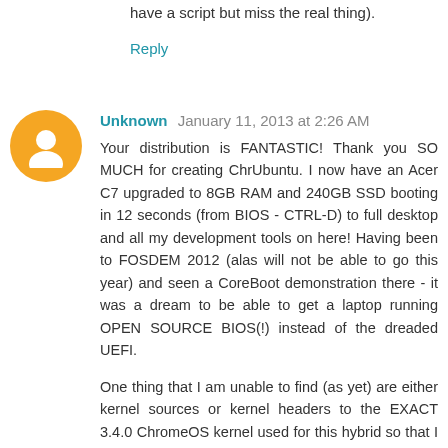have a script but miss the real thing).
Reply
Unknown  January 11, 2013 at 2:26 AM
Your distribution is FANTASTIC! Thank you SO MUCH for creating ChrUbuntu. I now have an Acer C7 upgraded to 8GB RAM and 240GB SSD booting in 12 seconds (from BIOS - CTRL-D) to full desktop and all my development tools on here! Having been to FOSDEM 2012 (alas will not be able to go this year) and seen a CoreBoot demonstration there - it was a dream to be able to get a laptop running OPEN SOURCE BIOS(!) instead of the dreaded UEFI.
One thing that I am unable to find (as yet) are either kernel sources or kernel headers to the EXACT 3.4.0 ChromeOS kernel used for this hybrid so that I can install VirtualBox on the Acer. My ultimate aim is to have a 'blessed' kernel running directly from CoreBoot without any need for the ChromeOS bits at all - and I would love to help (you) achieve this (I do have kernel experience myself).